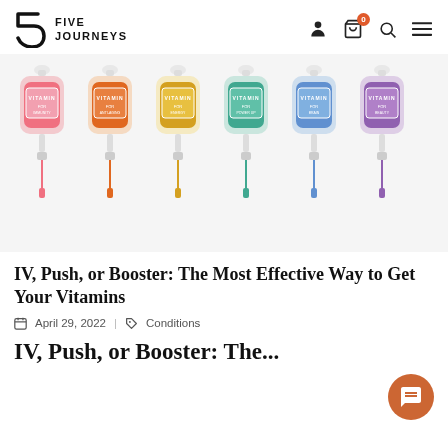FIVE JOURNEYS
[Figure (illustration): Six colorful IV vitamin drip bags in different colors (pink, orange, yellow, teal, blue, purple), each labeled VITAMIN FOR [benefit], arranged side by side with IV tubing hanging below.]
IV, Push, or Booster: The Most Effective Way to Get Your Vitamins
April 29, 2022 | Conditions
IV, Push, or Booster: The...